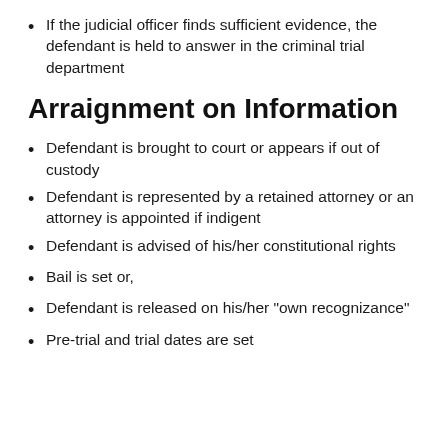If the judicial officer finds sufficient evidence, the defendant is held to answer in the criminal trial department
Arraignment on Information
Defendant is brought to court or appears if out of custody
Defendant is represented by a retained attorney or an attorney is appointed if indigent
Defendant is advised of his/her constitutional rights
Bail is set or,
Defendant is released on his/her "own recognizance"
Pre-trial and trial dates are set